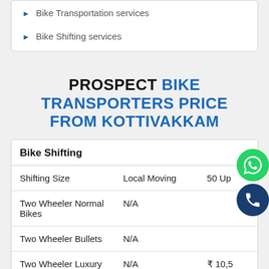Bike Transportation services
Bike Shifting services
PROSPECT BIKE TRANSPORTERS PRICE FROM KOTTIVAKKAM
| Bike Shifting |  |  |
| --- | --- | --- |
| Shifting Size | Local Moving | 50 Up |
| Two Wheeler Normal Bikes | N/A |  |
| Two Wheeler Bullets | N/A |  |
| Two Wheeler Luxury Bikes | N/A | ₹ 10,5 |